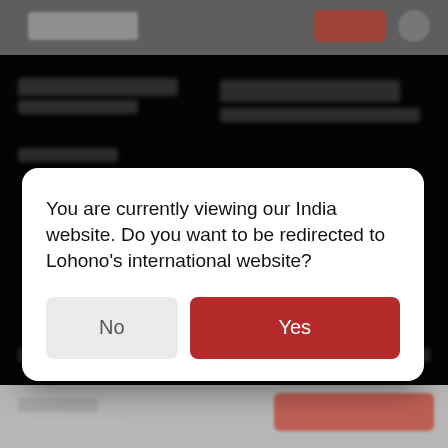[Figure (screenshot): Blurred website background showing a dark navigation bar with logo and red button, and a dark overlay content area below.]
You are currently viewing our India website. Do you want to be redirected to Lohono's international website?
No
Yes